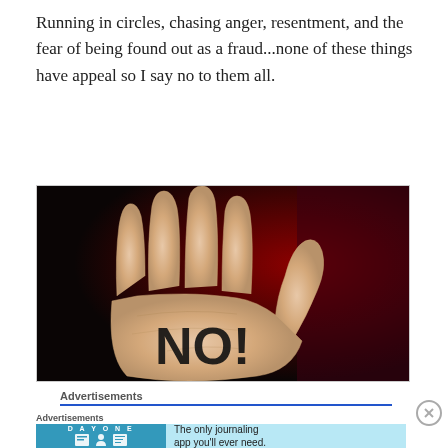Running in circles, chasing anger, resentment, and the fear of being found out as a fraud...none of these things have appeal so I say no to them all.
[Figure (photo): A hand with open palm facing the viewer with 'NO!' written on the palm in black marker, against a dark red/black background.]
Advertisements
Advertisements
[Figure (screenshot): Day One journaling app advertisement banner with icons and text 'The only journaling app you'll ever need.']